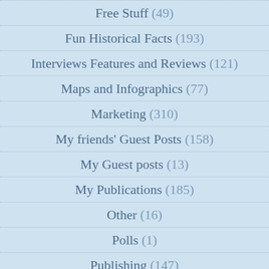Free Stuff (49)
Fun Historical Facts (193)
Interviews Features and Reviews (121)
Maps and Infographics (77)
Marketing (310)
My friends' Guest Posts (158)
My Guest posts (13)
My Publications (185)
Other (16)
Polls (1)
Publishing (147)
Quora (37)
Random Musings (128)